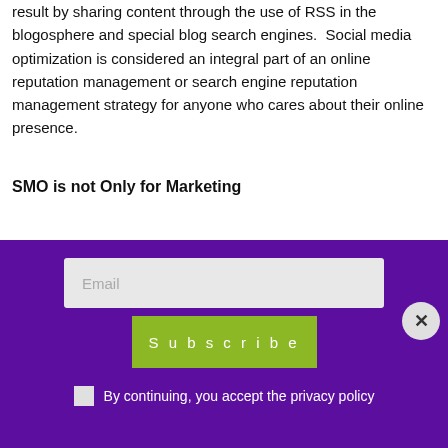result by sharing content through the use of RSS in the blogosphere and special blog search engines.  Social media optimization is considered an integral part of an online reputation management or search engine reputation management strategy for anyone who cares about their online presence.
SMO is not Only for Marketing
Social media optimization is not limited to marketing.
Email
Subscribe
By continuing, you accept the privacy policy